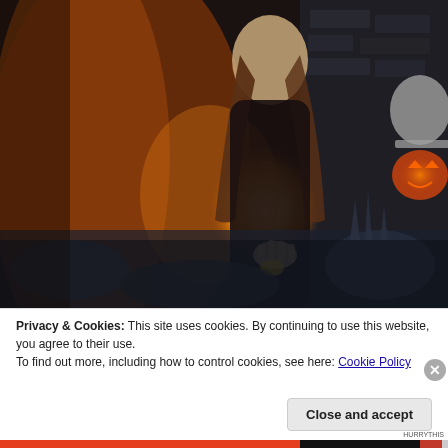[Figure (photo): Dark fantasy illustration showing a woman in a dark cloak holding a glowing orb of light, with a scarecrow or pumpkin-headed figure wearing a hat lurking in the background amid a dark, moody forest setting]
Privacy & Cookies: This site uses cookies. By continuing to use this website, you agree to their use.
To find out more, including how to control cookies, see here: Cookie Policy